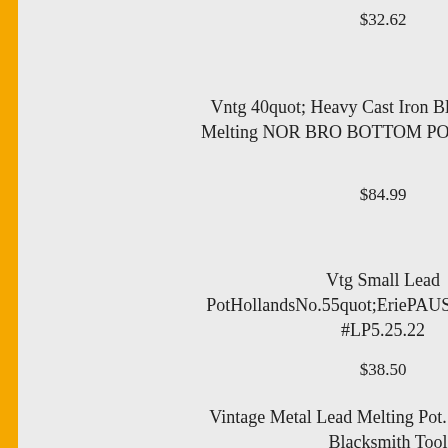$32.62
Vntg 40quot; Heavy Cast Iron Blacksmith Lead Melting NOR BRO BOTTOM POUR CRUCIBLe
$84.99
Vtg Small Lead PotHollandsNo.55quot;EriePAUSA GD🔲🔲🔲 #LP5.25.22
$38.50
Vintage Metal Lead Melting Pot. 16 inches Long. Blacksmith Tool